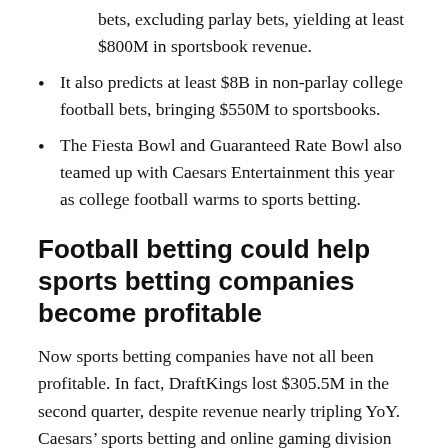bets, excluding parlay bets, yielding at least $800M in sportsbook revenue.
It also predicts at least $8B in non-parlay college football bets, bringing $550M to sportsbooks.
The Fiesta Bowl and Guaranteed Rate Bowl also teamed up with Caesars Entertainment this year as college football warms to sports betting.
Football betting could help sports betting companies become profitable
Now sports betting companies have not all been profitable. In fact, DraftKings lost $305.5M in the second quarter, despite revenue nearly tripling YoY. Caesars’ sports betting and online gaming division also lost $22M in Q2. In addition, FanDuel parent Flutter Entertainment also reported U.S. division…